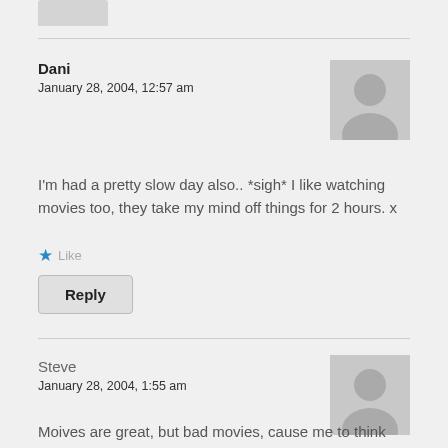[Figure (illustration): Grey avatar placeholder image (partial, top of page)]
Dani
January 28, 2004, 12:57 am
[Figure (illustration): Grey avatar/silhouette placeholder for commenter Dani]
I'm had a pretty slow day also.. *sigh* I like watching movies too, they take my mind off things for 2 hours. x
Like
Reply
Steve
January 28, 2004, 1:55 am
[Figure (illustration): Grey avatar/silhouette placeholder for commenter Steve]
Moives are great, but bad movies, cause me to think